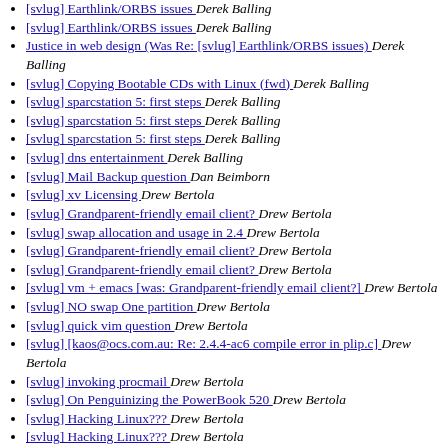[svlug] Earthlink/ORBS issues  Derek Balling
[svlug] Earthlink/ORBS issues  Derek Balling
Justice in web design (Was Re: [svlug] Earthlink/ORBS issues)  Derek Balling
[svlug] Copying Bootable CDs with Linux (fwd)  Derek Balling
[svlug] sparcstation 5: first steps  Derek Balling
[svlug] sparcstation 5: first steps  Derek Balling
[svlug] sparcstation 5: first steps  Derek Balling
[svlug] dns entertainment  Derek Balling
[svlug] Mail Backup question  Dan Beimborn
[svlug] xv Licensing  Drew Bertola
[svlug] Grandparent-friendly email client?  Drew Bertola
[svlug] swap allocation and usage in 2.4  Drew Bertola
[svlug] Grandparent-friendly email client?  Drew Bertola
[svlug] Grandparent-friendly email client?  Drew Bertola
[svlug] vm + emacs [was: Grandparent-friendly email client?]  Drew Bertola
[svlug] NO swap One partition  Drew Bertola
[svlug] quick vim question  Drew Bertola
[svlug] [kaos@ocs.com.au: Re: 2.4.4-ac6 compile error in plip.c]  Drew Bertola
[svlug] invoking procmail  Drew Bertola
[svlug] On Penguinizing the PowerBook 520  Drew Bertola
[svlug] Hacking Linux???  Drew Bertola
[svlug] Hacking Linux???  Drew Bertola